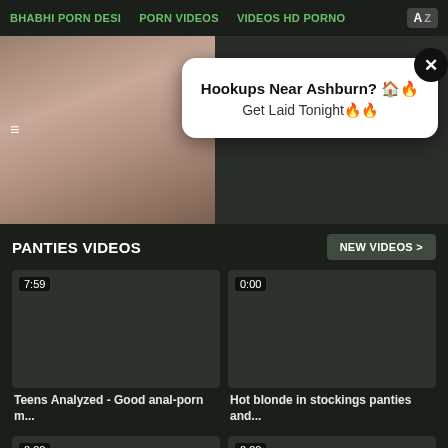BHABHI PORN DESI   PORN VIDEOS   VIDEOS HD PORNO
[Figure (screenshot): Hero banner area with thumbnail image on left, popup modal overlay on right showing 'Hookups Near Ashburn? Get Laid Tonight' with close button]
PANTIES VIDEOS
NEW VIDEOS >
[Figure (screenshot): Video thumbnail dark placeholder with duration 7:59]
[Figure (screenshot): Video thumbnail dark placeholder with duration 0:00]
Teens Analyzed - Good anal-porn m...
Hot blonde in stockings panties and...
[Figure (screenshot): Video thumbnail dark placeholder with duration 0:00]
[Figure (screenshot): Video thumbnail dark placeholder with duration 0:00]